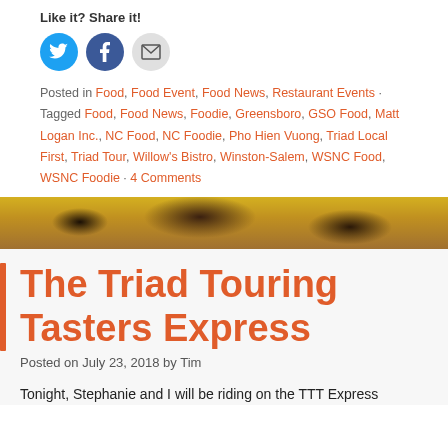Like it? Share it!
[Figure (illustration): Social sharing icons: Twitter (blue circle), Facebook (blue circle), Email (gray circle)]
Posted in Food, Food Event, Food News, Restaurant Events · Tagged Food, Food News, Foodie, Greensboro, GSO Food, Matt Logan Inc., NC Food, NC Foodie, Pho Hien Vuong, Triad Local First, Triad Tour, Willow's Bistro, Winston-Salem, WSNC Food, WSNC Foodie · 4 Comments
[Figure (photo): Close-up photo of food, appears to be meat on a yellow plate or surface]
The Triad Touring Tasters Express
Posted on July 23, 2018 by Tim
Tonight, Stephanie and I will be riding on the TTT Express